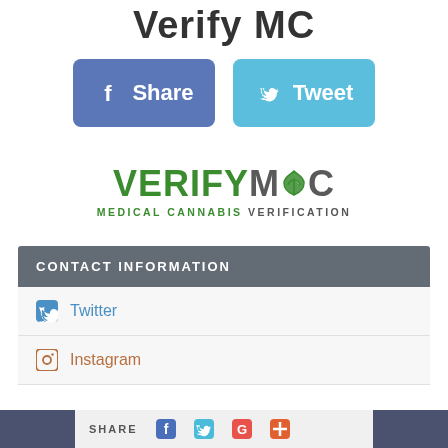Verify MC
[Figure (infographic): Facebook Share button (blue rounded rectangle with F icon and Share text) and Twitter Tweet button (light blue rounded rectangle with bird icon and Tweet text)]
[Figure (logo): VerifyMC logo - VERIFY in green bold uppercase, MC in dark gray bold uppercase with a green cannabis leaf icon, subtitle MEDICAL CANNABIS VERIFICATION in gray/green uppercase text]
CONTACT INFORMATION
Twitter
Instagram
SHARE